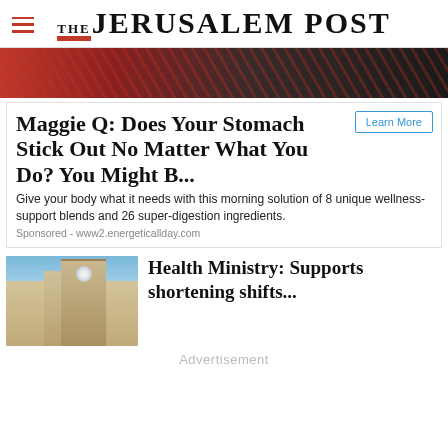THE JERUSALEM POST
[Figure (photo): Hero image showing red and dark mechanical/sports equipment]
Maggie Q: Does Your Stomach Stick Out No Matter What You Do? You Might B...
Give your body what it needs with this morning solution of 8 unique wellness-support blends and 26 super-digestion ingredients.
Sponsored - www2.energeticallday.com
[Figure (photo): Photo of a multi-story building (Health Ministry building)]
Health Ministry: Supports shortening shifts...
Advertisement